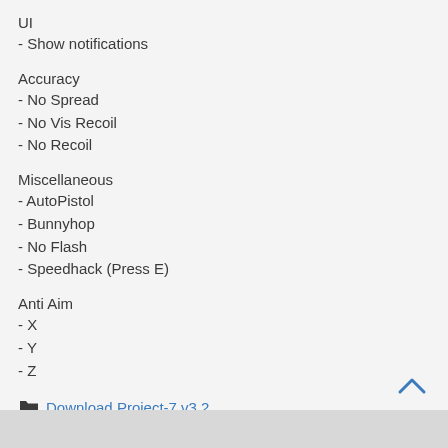UI
- Show notifications
Accuracy
- No Spread
- No Vis Recoil
- No Recoil
Miscellaneous
- AutoPistol
- Bunnyhop
- No Flash
- Speedhack (Press E)
Anti Aim
- X
- Y
- Z
Download Project-7 v3.2
Downloaded 3.952 times